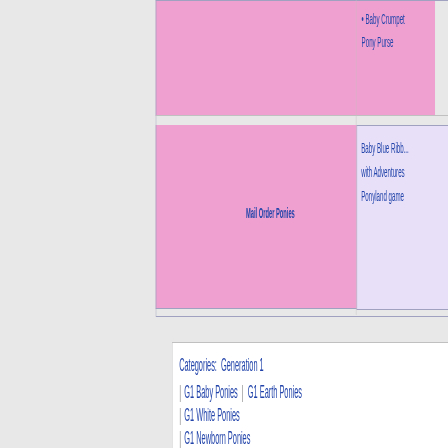|  | Mail Order Ponies | Baby Blue Ribb... |
| --- | --- | --- |
|  |  | • Baby Crumpet
Pony Purse |
|  | Mail Order Ponies | Baby Blue Ribb...
with Adventures
Ponyland game |
Categories:  Generation 1
| G1 Baby Ponies | G1 Earth Ponies
| G1 White Ponies
| G1 Newborn Ponies
| Newborn Twin Ponies
| Year Five (1986-1987)
This page was last modified on 19 November 2016, at 06:40.
Privacy policy   About My Little Wiki   Disclaimers